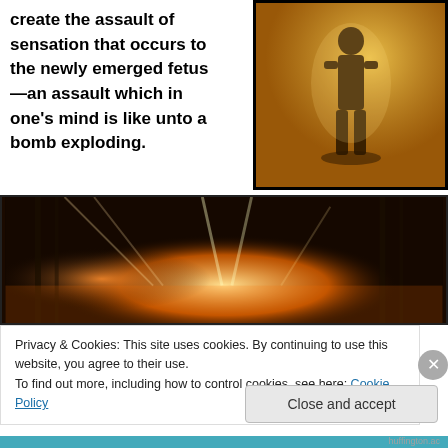create the assault of sensation that occurs to the newly emerged fetus—an assault which in one's mind is like unto a bomb exploding.
[Figure (photo): Silhouette of a person standing in a doorway or lit space, with warm orange/amber lighting.]
[Figure (photo): Concert or industrial scene with bright stage lights and dramatic orange/fire lighting against a dark background.]
Privacy & Cookies: This site uses cookies. By continuing to use this website, you agree to their use.
To find out more, including how to control cookies, see here: Cookie Policy
Close and accept